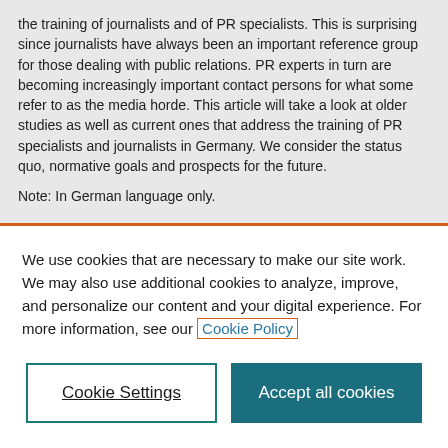the training of journalists and of PR specialists. This is surprising since journalists have always been an important reference group for those dealing with public relations. PR experts in turn are becoming increasingly important contact persons for what some refer to as the media horde. This article will take a look at older studies as well as current ones that address the training of PR specialists and journalists in Germany. We consider the status quo, normative goals and prospects for the future.
Note: In German language only.
We use cookies that are necessary to make our site work. We may also use additional cookies to analyze, improve, and personalize our content and your digital experience. For more information, see our Cookie Policy